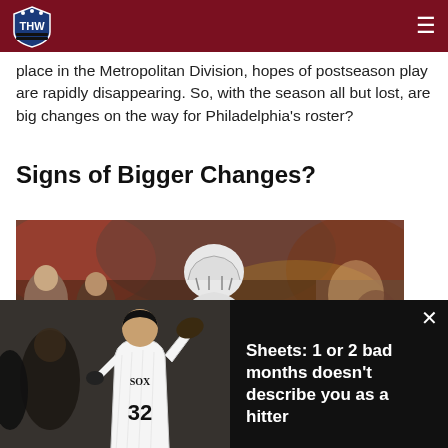THW - The Hockey Writers
place in the Metropolitan Division, hopes of postseason play are rapidly disappearing. So, with the season all but lost, are big changes on the way for Philadelphia's roster?
Signs of Bigger Changes?
[Figure (photo): Hockey player on ice with crowd in background]
[Figure (photo): Video popup overlay: Baseball player #32 celebrating with teammates. Text reads: Sheets: 1 or 2 bad months doesn't describe you as a hitter]
[Figure (photo): Bottom strip image showing hockey/Flyers players in orange jerseys]